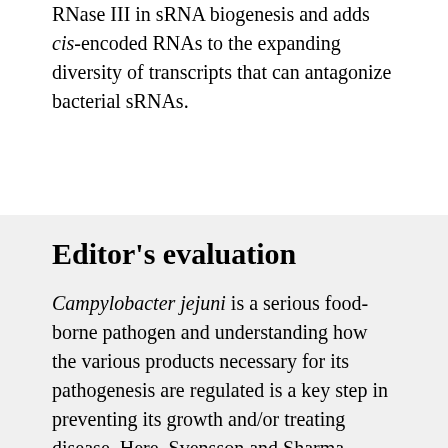RNase III in sRNA biogenesis and adds cis-encoded RNAs to the expanding diversity of transcripts that can antagonize bacterial sRNAs.
Editor's evaluation
Campylobacter jejuni is a serious food-borne pathogen and understanding how the various products necessary for its pathogenesis are regulated is a key step in preventing its growth and/or treating disease. Here, Svensson and Sharma examine the complex pathway that leads to the maturation of two complementary regulatory RNAs and how one of the RNAs antagonizes the other to relieve